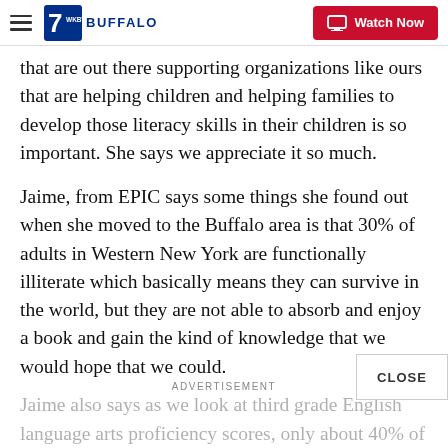WKBW BUFFALO | Watch Now
that are out there supporting organizations like ours that are helping children and helping families to develop those literacy skills in their children is so important. She says we appreciate it so much.
Jaime, from EPIC says some things she found out when she moved to the Buffalo area is that 30% of adults in Western New York are functionally illiterate which basically means they can survive in the world, but they are not able to absorb and enjoy a book and gain the kind of knowledge that we would hope that we could.
Jaime also says as we look at third grade English language arts proficiency scores, only about 40% of